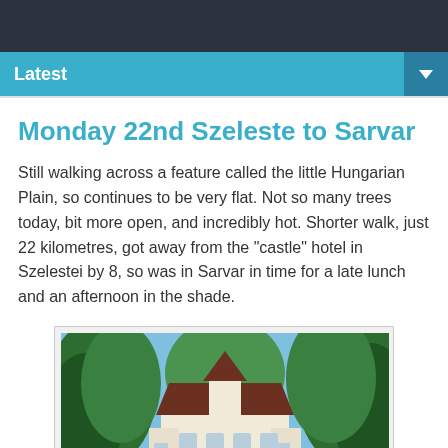Latest
Monday 22nd Szeleste to Sarvar
Still walking across a feature called the little Hungarian Plain, so continues to be very flat. Not so many trees today, bit more open, and incredibly hot. Shorter walk, just 22 kilometres, got away from the "castle" hotel in Szelestei by 8, so was in Sarvar in time for a late lunch and an afternoon in the shade.
[Figure (photo): A castle-style building with a steep dark roof and pointed turrets, viewed through tall green trees along a pathway, blue sky above.]